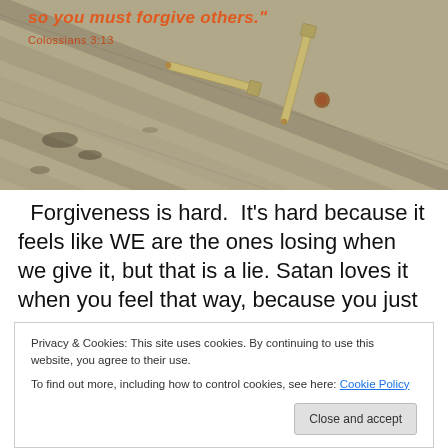[Figure (photo): Photo of nails arranged in a cross shape on weathered wooden planks, with the Bible quote 'so you must forgive others.' and attribution 'Colossians 3:13' overlaid in orange/red text]
Forgiveness is hard. It's hard because it feels like WE are the ones losing when we give it, but that is a lie. Satan loves it when you feel that way, because you just
Privacy & Cookies: This site uses cookies. By continuing to use this website, you agree to their use.
To find out more, including how to control cookies, see here: Cookie Policy
Close and accept
Forgiveness the very foundation on which we stand,